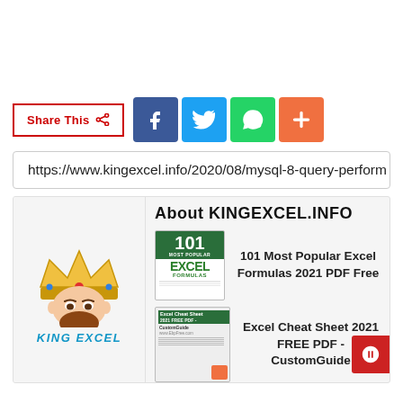[Figure (other): Share This button with social media icons: Facebook (blue), Twitter (light blue), WhatsApp (green), More/Plus (orange)]
https://www.kingexcel.info/2020/08/mysql-8-query-perform
[Figure (logo): King Excel logo - cartoon king with crown and beard, text KING EXCEL below]
About KINGEXCEL.INFO
[Figure (illustration): 101 Most Popular Excel Formulas 2021 PDF Free book cover thumbnail]
101 Most Popular Excel Formulas 2021 PDF Free
[Figure (illustration): Excel Cheat Sheet 2021 FREE PDF - CustomGuide book cover thumbnail]
Excel Cheat Sheet 2021 FREE PDF - CustomGuide